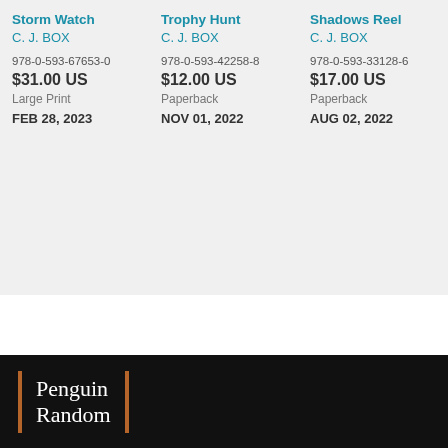Storm Watch
C. J. BOX
978-0-593-67653-0
$31.00 US
Large Print
FEB 28, 2023
Trophy Hunt
C. J. BOX
978-0-593-42258-8
$12.00 US
Paperback
NOV 01, 2022
Shadows Reel
C. J. BOX
978-0-593-33128-6
$17.00 US
Paperback
AUG 02, 2022
[Figure (logo): Penguin Random House logo with orange vertical bars and white serif text on black background]